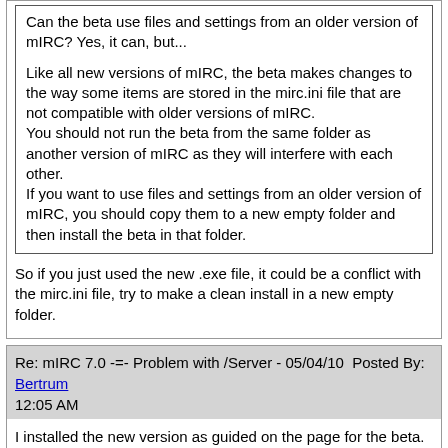Can the beta use files and settings from an older version of mIRC? Yes, it can, but...

Like all new versions of mIRC, the beta makes changes to the way some items are stored in the mirc.ini file that are not compatible with older versions of mIRC.
You should not run the beta from the same folder as another version of mIRC as they will interfere with each other.
If you want to use files and settings from an older version of mIRC, you should copy them to a new empty folder and then install the beta in that folder.
So if you just used the new .exe file, it could be a conflict with the mirc.ini file, try to make a clean install in a new empty folder.
Re: mIRC 7.0 -=- Problem with /Server - 05/04/10  Posted By: Bertrum
12:05 AM
I installed the new version as guided on the page for the beta.

I installed it on my laptop which didn't have mIRC on it anyway (this was to avoid it conflicting with any previous version)

I have since then, installed it on a portable device, and when I open up the mirc.exe, the same problem occurs, /server takes around 10 seconds to respond.

However, /server -m responds imediately
Re: mIRC 7.0 -=- Problem with /Server - 05/04/10  Posted By: Khaled